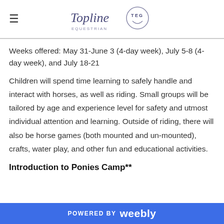Topline Equestrian
Weeks offered: May 31-June 3 (4-day week), July 5-8 (4-day week), and July 18-21
Children will spend time learning to safely handle and interact with horses, as well as riding. Small groups will be tailored by age and experience level for safety and utmost individual attention and learning. Outside of riding, there will also be horse games (both mounted and un-mounted), crafts, water play, and other fun and educational activities.
Introduction to Ponies Camp**
POWERED BY weebly